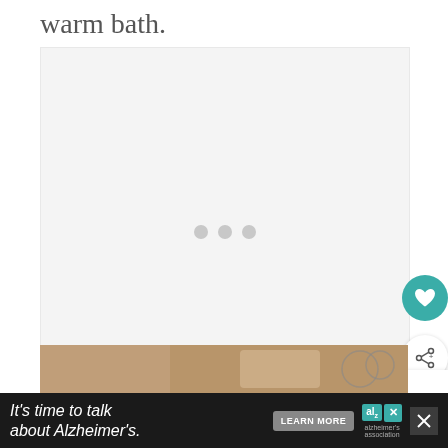warm bath.
[Figure (photo): Large image placeholder with three gray loading dots in the center, light gray background]
[Figure (infographic): What's Next panel showing heart/favorite button (teal), share button (white), and Homemade Crockpot... next article thumbnail]
[Figure (photo): Partial bottom image showing cooking or food scene]
[Figure (infographic): Advertisement bar: It's time to talk about Alzheimer's. LEARN MORE button, Alzheimer's Association logo, close button]